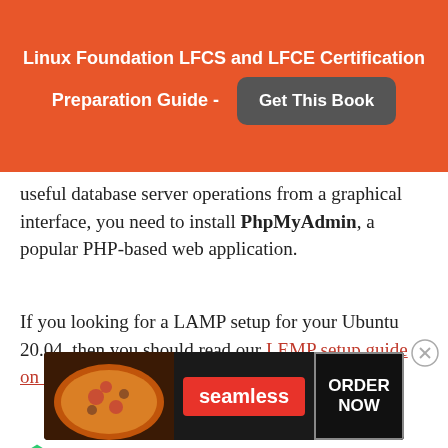Linux Foundation LFCS and LFCE Certification Preparation Guide - Get This Book
useful database server operations from a graphical interface, you need to install PhpMyAdmin, a popular PHP-based web application.
If you looking for a LAMP setup for your Ubuntu 20.04, then you should read our LEMP setup guide on Ubuntu 20.04.
In this article, you will learn how to install and
[Figure (infographic): Seamless food ordering advertisement banner with pizza image on left, seamless logo in center, and ORDER NOW button on right]